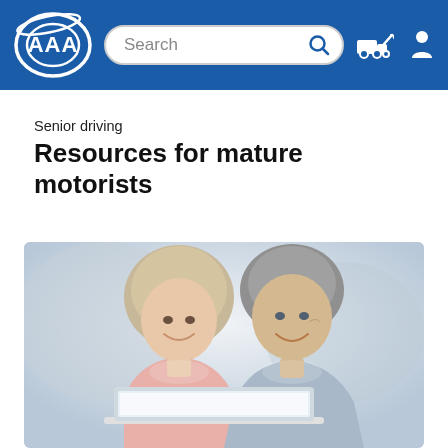AAA — Search bar with search icon, roadside assistance icon, and user account icon
Senior driving
Resources for mature motorists
[Figure (photo): Two older adults (a woman with short blonde hair in a pink blazer and a man with gray hair in a light blue shirt) smiling while looking at a laptop screen together]